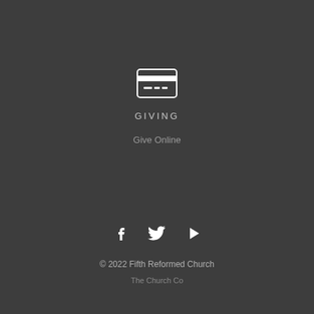[Figure (illustration): Credit card icon: white rounded rectangle with a stripe near top and three small horizontal lines near bottom center]
GIVING
Give Online
[Figure (illustration): Three social media icons in a row: Facebook (f), Twitter (bird), YouTube (play triangle)]
© 2022 Fifth Reformed Church
The Church Co